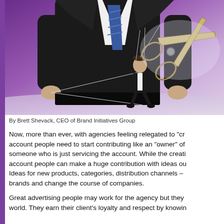[Figure (photo): A large businessman in suit and tie controls a small puppet-like businessman with strings, while a pair of scissors hovers above ready to cut the strings. Background is purple/blue gradient.]
By Brett Shevack, CEO of Brand Initiatives Group
Now, more than ever, with agencies feeling relegated to "cr... account people need to start contributing like an "owner" of someone who is just servicing the account. While the creati... account people can make a huge contribution with ideas ou... Ideas for new products, categories, distribution channels – brands and change the course of companies.
Great advertising people may work for the agency but they... world. They earn their client's loyalty and respect by knowin...